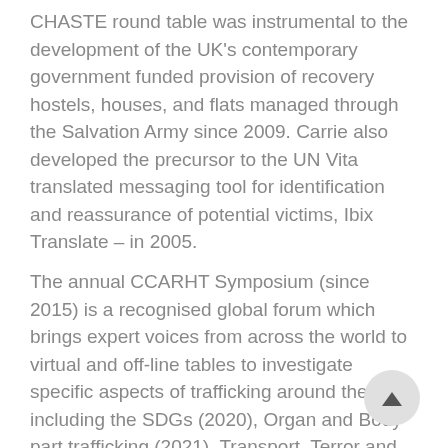CHASTE round table was instrumental to the development of the UK's contemporary government funded provision of recovery hostels, houses, and flats managed through the Salvation Army since 2009. Carrie also developed the precursor to the UN Vita translated messaging tool for identification and reassurance of potential victims, Ibix Translate – in 2005.
The annual CCARHT Symposium (since 2015) is a recognised global forum which brings expert voices from across the world to virtual and off-line tables to investigate specific aspects of trafficking around themes including the SDGs (2020), Organ and Body part trafficking (2021), Transport, Terror and Trauma